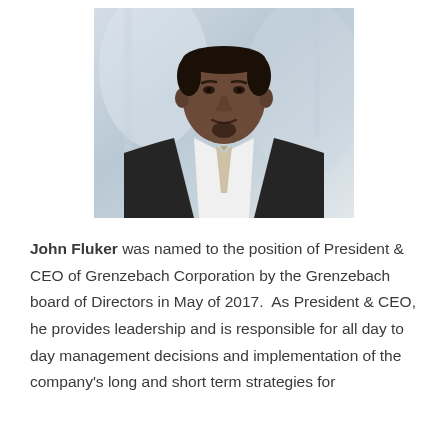[Figure (photo): Professional headshot of John Fluker, a man in a dark suit with a light patterned tie, against a blurred light background.]
John Fluker was named to the position of President & CEO of Grenzebach Corporation by the Grenzebach board of Directors in May of 2017.  As President & CEO, he provides leadership and is responsible for all day to day management decisions and implementation of the company's long and short term strategies for